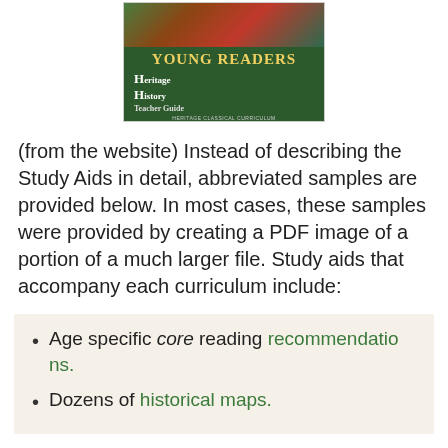[Figure (photo): Book cover for Heritage History Young Readers Teacher Guide on a dark green background with 'Young Readers' in yellow text and 'Heritage History Teacher Guide' subtitle, with a nature/forest image strip at top.]
(from the website) Instead of describing the Study Aids in detail, abbreviated samples are provided below. In most cases, these samples were provided by creating a PDF image of a portion of a much larger file. Study aids that accompany each curriculum include:
Age specific core reading recommendations.
Dozens of historical maps.